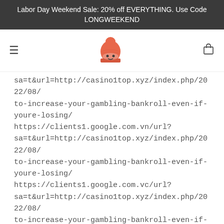Labor Day Weekend Sale: 20% off EVERYTHING. Use Code LONGWEEKEND
[Figure (logo): Orange knitted hat / beanie logo illustration]
sa=t&url=http://casino1top.xyz/index.php/2022/08/to-increase-your-gambling-bankroll-even-if-youre-losing/ https://clients1.google.com.vn/url?sa=t&url=http://casino1top.xyz/index.php/2022/08/to-increase-your-gambling-bankroll-even-if-youre-losing/ https://clients1.google.com.vc/url?sa=t&url=http://casino1top.xyz/index.php/2022/08/to-increase-your-gambling-bankroll-even-if-youre-losing/ https://clients1.google.com.uy/url?sa=t&url=http://casino1top.xyz/index.php/2022/08/